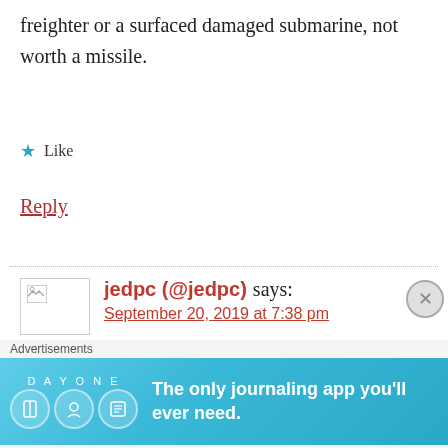freighter or a surfaced damaged submarine, not worth a missile.
★ Like
Reply
jedpc (@jedpc) says: September 20, 2019 at 7:38 pm
Cool, sounds like you all came to the same conclusion as me, which means I am not completely off the mark then I 🙂
[Figure (screenshot): Advertisement banner for Day One journaling app with light blue background, showing app icons and text 'The only journaling app you'll ever need.']